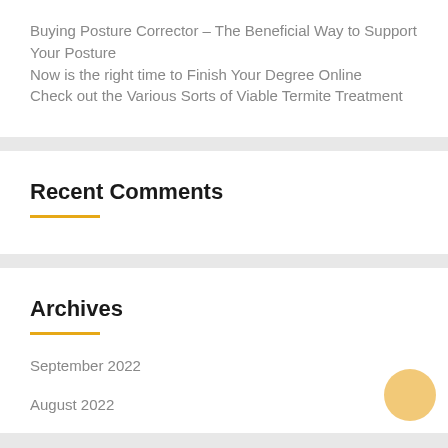Buying Posture Corrector – The Beneficial Way to Support Your Posture
Now is the right time to Finish Your Degree Online
Check out the Various Sorts of Viable Termite Treatment
Recent Comments
Archives
September 2022
August 2022